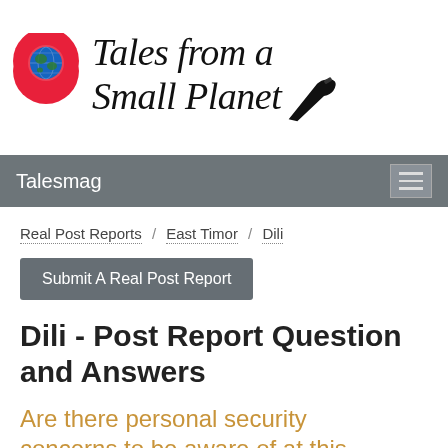[Figure (logo): Tales from a Small Planet logo with globe location pin icon and fountain pen, script text reading 'Tales from a Small Planet']
Talesmag
Real Post Reports / East Timor / Dili
Submit A Real Post Report
Dili - Post Report Question and Answers
Are there personal security concerns to be aware of at this